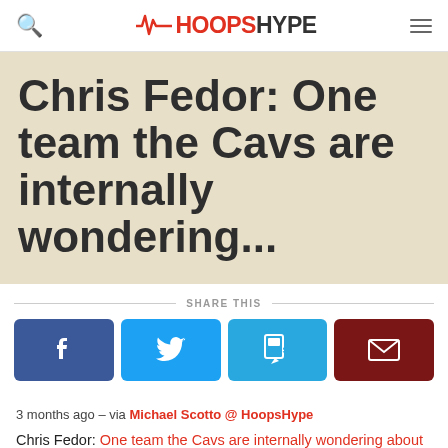HoopsHype
Chris Fedor: One team the Cavs are internally wondering...
SHARE THIS
[Figure (infographic): Four social sharing buttons: Facebook (blue), Twitter (light blue), SMS (blue), Email (dark red)]
3 months ago – via Michael Scotto @ HoopsHype
Chris Fedor: One team the Cavs are internally wondering about the most regarding a sign-and-trade...